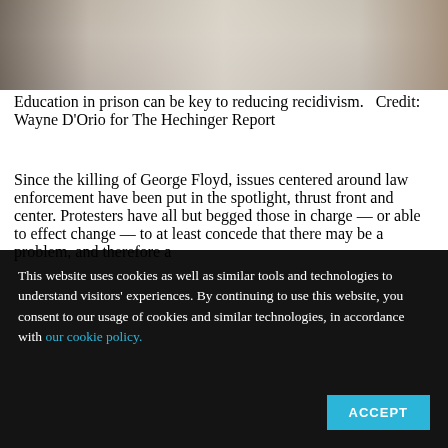[Figure (photo): Close-up photo of papers on a desk with a tattooed hand visible, suggesting a prison education setting.]
Education in prison can be key to reducing recidivism.   Credit: Wayne D'Orio for The Hechinger Report
Since the killing of George Floyd, issues centered around law enforcement have been put in the spotlight, thrust front and center. Protesters have all but begged those in charge — or able to effect change — to at least concede that there may be a problem, and therefore a
This website uses cookies as well as similar tools and technologies to understand visitors' experiences. By continuing to use this website, you consent to our usage of cookies and similar technologies, in accordance with our cookie policy.